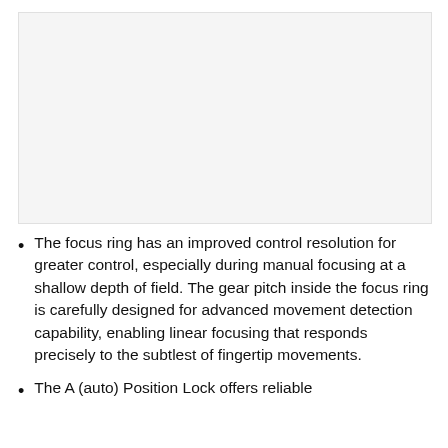[Figure (photo): Image area showing a camera lens or related component (content not visible in this crop)]
The focus ring has an improved control resolution for greater control, especially during manual focusing at a shallow depth of field. The gear pitch inside the focus ring is carefully designed for advanced movement detection capability, enabling linear focusing that responds precisely to the subtlest of fingertip movements.
The A (auto) Position Lock offers reliable